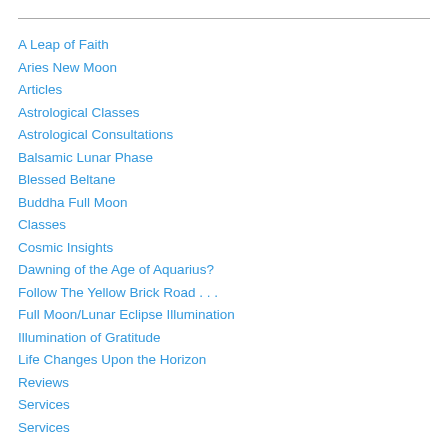A Leap of Faith
Aries New Moon
Articles
Astrological Classes
Astrological Consultations
Balsamic Lunar Phase
Blessed Beltane
Buddha Full Moon
Classes
Cosmic Insights
Dawning of the Age of Aquarius?
Follow The Yellow Brick Road . . .
Full Moon/Lunar Eclipse Illumination
Illumination of Gratitude
Life Changes Upon the Horizon
Reviews
Services
Services